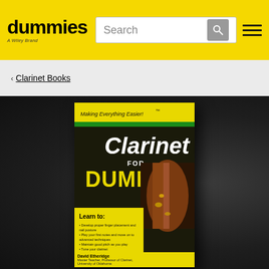dummies — A Wiley Brand — Search — Navigation
< Clarinet Books
[Figure (photo): Book cover of 'Clarinet For Dummies' by David Etheridge. Yellow and black cover with 'Making Everything Easier!' tagline, 'Clarinet FOR DUMMIES' title, Learn to: bullet points about finger placement, music reading, maintaining good pitch, and tuning clarinet. Includes a CD. Author listed as David Etheridge, Master Teacher, Professor of Clarinet, University of Oklahoma.]